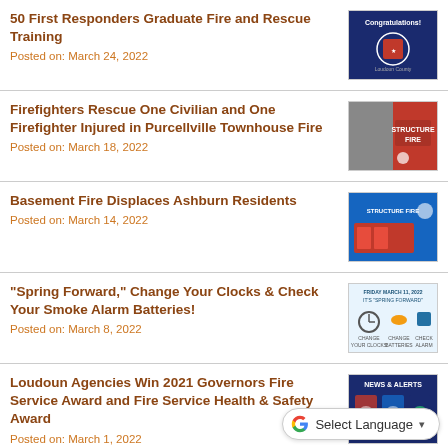50 First Responders Graduate Fire and Rescue Training
Posted on: March 24, 2022
[Figure (photo): Congratulations graphic with fire and rescue badge on dark blue background]
Firefighters Rescue One Civilian and One Firefighter Injured in Purcellville Townhouse Fire
Posted on: March 18, 2022
[Figure (photo): Structure Fire image showing red background with building and fire rescue badge]
Basement Fire Displaces Ashburn Residents
Posted on: March 14, 2022
[Figure (photo): Structure Fire image with red fire truck on blue background]
“Spring Forward,” Change Your Clocks & Check Your Smoke Alarm Batteries!
Posted on: March 8, 2022
[Figure (photo): Spring Forward infographic with clock, fish, and smoke alarm icons]
Loudoun Agencies Win 2021 Governors Fire Service Award and Fire Service Health & Safety Award
Posted on: March 1, 2022
[Figure (photo): News & Alerts graphic with fire department badges]